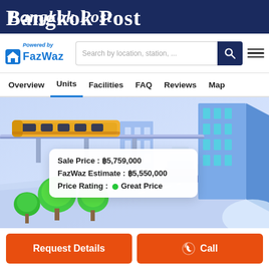Bangkok Post
[Figure (logo): FazWaz logo with house icon, 'Powered by' text, and search bar with hamburger menu]
Overview | Units | Facilities | FAQ | Reviews | Map
[Figure (illustration): Isometric city illustration with monorail/train, buildings, and trees. Popup shows: Sale Price: ฿5,759,000 | FazWaz Estimate: ฿5,550,000 | Price Rating: Great Price (green dot)]
Sale Price : ฿5,759,000
FazWaz Estimate : ฿5,550,000
Price Rating : Great Price
Request Details
Call